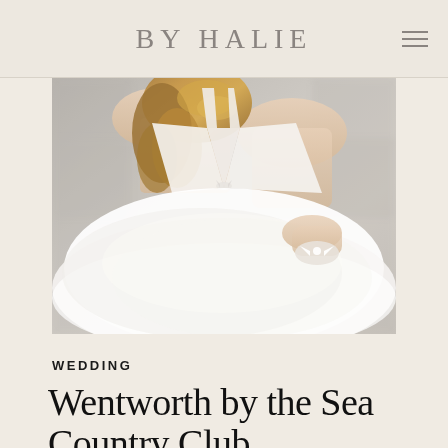BY HALIE
[Figure (photo): Close-up photo of a bride in a white halter-neck wedding gown with a voluminous tulle skirt, holding the skirt with gloved hands. The bride has curled blonde hair. Background is a soft blurred stone/architectural setting.]
WEDDING
Wentworth by the Sea Country Club